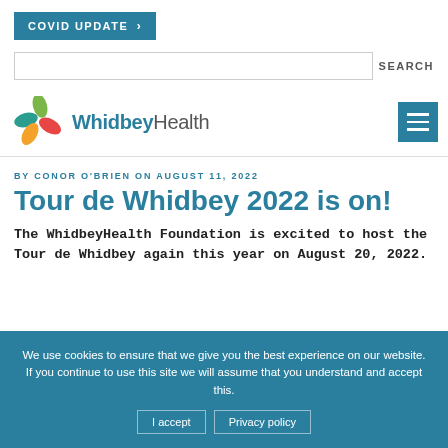COVID UPDATE >
SEARCH
[Figure (logo): WhidbeyHealth logo with colorful leaf/butterfly icon and text 'WhidbeyHealth']
BY CONOR O'BRIEN ON AUGUST 11, 2022
Tour de Whidbey 2022 is on!
The WhidbeyHealth Foundation is excited to host the Tour de Whidbey again this year on August 20, 2022.
We use cookies to ensure that we give you the best experience on our website. If you continue to use this site we will assume that you understand and accept this.
I accept   Privacy policy